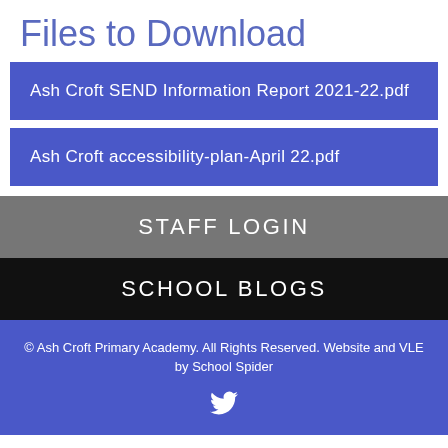Files to Download
Ash Croft SEND Information Report 2021-22.pdf
Ash Croft accessibility-plan-April 22.pdf
STAFF LOGIN
SCHOOL BLOGS
© Ash Croft Primary Academy. All Rights Reserved. Website and VLE by School Spider